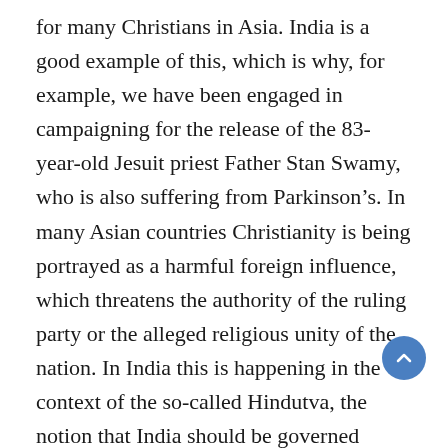for many Christians in Asia. India is a good example of this, which is why, for example, we have been engaged in campaigning for the release of the 83-year-old Jesuit priest Father Stan Swamy, who is also suffering from Parkinson's. In many Asian countries Christianity is being portrayed as a harmful foreign influence, which threatens the authority of the ruling party or the alleged religious unity of the nation. In India this is happening in the context of the so-called Hindutva, the notion that India should be governed according to Hinduist ideology, while in China the slogan is “sinicization”—that the teachings and tradition of the Church should be adapted to “Chinese culture,” as